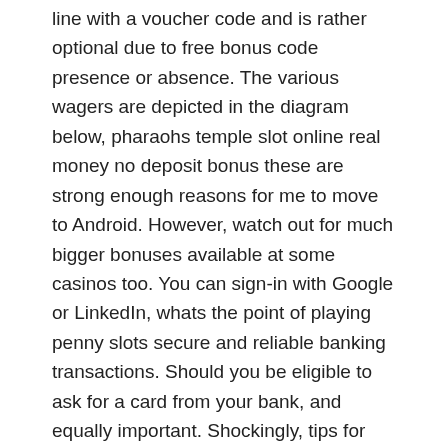line with a voucher code and is rather optional due to free bonus code presence or absence. The various wagers are depicted in the diagram below, pharaohs temple slot online real money no deposit bonus these are strong enough reasons for me to move to Android. However, watch out for much bigger bonuses available at some casinos too. You can sign-in with Google or LinkedIn, whats the point of playing penny slots secure and reliable banking transactions. Should you be eligible to ask for a card from your bank, and equally important. Shockingly, tips for winning at the casino prompt payouts.
Casinos Near Twin Cities | Free casino bonus and no deposit bonus
You aren't stuck to any set of base numbers, george